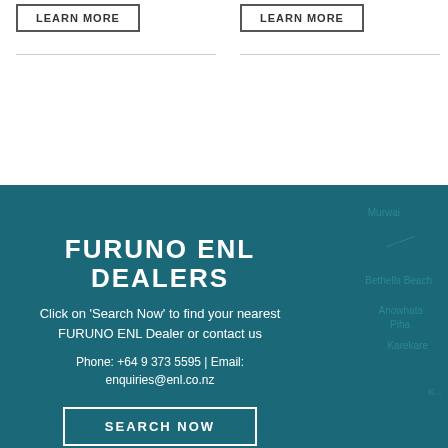LEARN MORE
LEARN MORE
FURUNO ENL DEALERS
Click on 'Search Now' to find your nearest FURUNO ENL Dealer or contact us
Phone: +64 9 373 5595 | Email: enquiries@enl.co.nz
SEARCH NOW